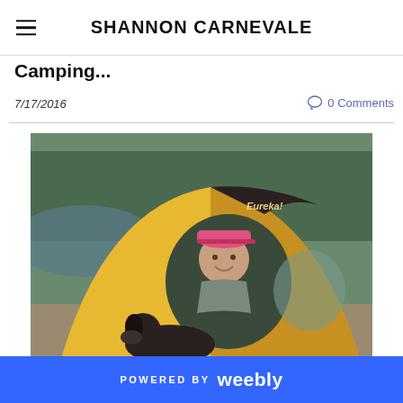SHANNON CARNEVALE
Camping...
7/17/2016
0 Comments
[Figure (photo): A woman in a pink baseball cap smiling from inside a yellow Eureka brand tent, with a dark dog sitting in front of the tent, near a wooded river area]
POWERED BY weebly